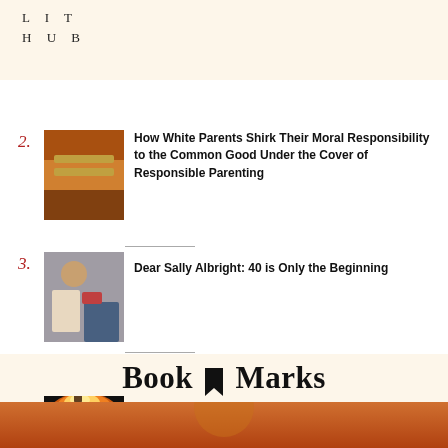LIT HUB
2. How White Parents Shirk Their Moral Responsibility to the Common Good Under the Cover of Responsible Parenting
3. Dear Sally Albright: 40 is Only the Beginning
4. Book banning goes full ouroboros as a Texas school district removes the Bible from its shelves.
Book Marks